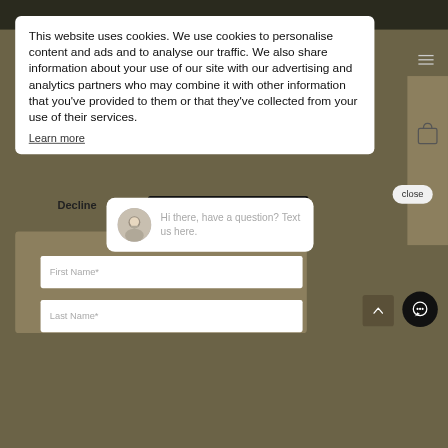This website uses cookies. We use cookies to personalise content and ads and to analyse our traffic. We also share information about your use of our site with our advertising and analytics partners who may combine it with other information that you’ve provided to them or that they’ve collected from your use of their services.
Learn more
close
Decline
Hi there, have a question? Text us here.
First Name*
Last Name*